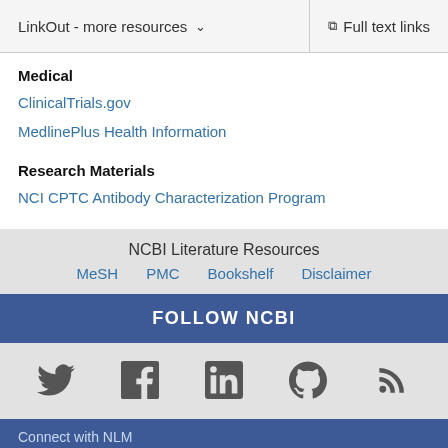LinkOut - more resources   Full text links
Medical
ClinicalTrials.gov
MedlinePlus Health Information
Research Materials
NCI CPTC Antibody Characterization Program
NCBI Literature Resources
MeSH   PMC   Bookshelf   Disclaimer
FOLLOW NCBI
[Figure (infographic): Social media icons: Twitter, Facebook, LinkedIn, GitHub, RSS feed]
Connect with NLM